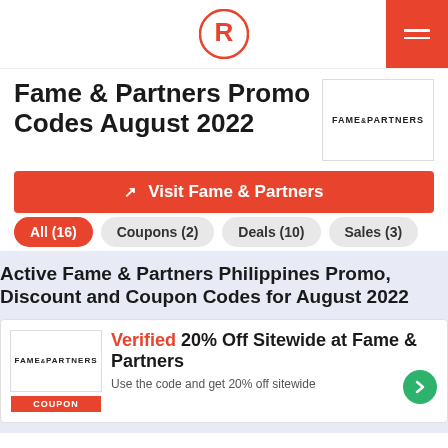Rappler logo and navigation
Fame & Partners Promo Codes August 2022
[Figure (logo): Fame & Partners brand logo in a bordered box]
Visit Fame & Partners
All (16)
Coupons (2)
Deals (10)
Sales (3)
Active Fame & Partners Philippines Promo, Discount and Coupon Codes for August 2022
Verified 20% Off Sitewide at Fame & Partners
Use the code and get 20% off sitewide